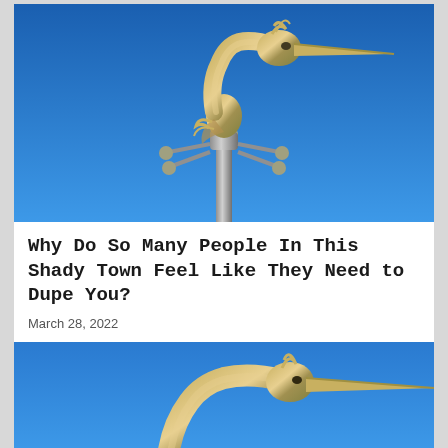[Figure (photo): A metallic bird sculpture (heron/stork) on a pole against a bright blue sky. The gold/silver sculpture has an elongated beak pointing right, a curved neck, and decorative spherical elements on horizontal arms at the base.]
Why Do So Many People In This Shady Town Feel Like They Need to Dupe You?
March 28, 2022
[Figure (photo): Partial view of the same metallic bird sculpture against a bright blue sky, cropped to show mostly the head and beak area.]